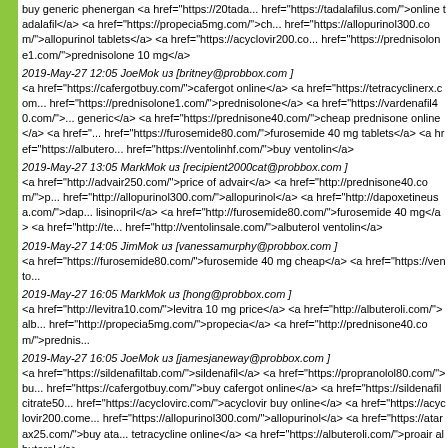<a href="https://phenergandm.com/">buy generic phenergan</a> <a href="https://20tada... href="https://tadalafilus.com/">online tadalafil</a> <a href="https://propecia5mg.com/">ch... href="https://allopurinol300.com/">allopurinol tablets</a> <a href="https://acyclovir200.co... href="https://prednisolone1.com/">prednisolone 10 mg</a>
2019-May-27 12:05 JoeMok из [britney@probbox.com ]
<a href="https://cafergotbuy.com/">cafergot online</a> <a href="https://tetracyclinerx.com... href="https://prednisolone1.com/">prednisolone</a> <a href="https://vardenafil40.com/">... generic</a> <a href="https://prednisone40.com/">cheap prednisone online</a> <a href="... href="https://furosemide80.com/">furosemide 40 mg tablets</a> <a href="https://albutero... href="https://ventolinhf.com/">buy ventolin</a>
2019-May-27 13:05 MarkMok из [recipient2000cat@probbox.com ]
<a href="http://advair250.com/">price of advair</a> <a href="http://prednisone40.com/">p... href="http://allopurinol300.com/">allopurinol</a> <a href="http://dapoxetineusa.com/">dap... lisinopril</a> <a href="http://furosemide80.com/">furosemide 40 mg</a> <a href="http://te... href="http://ventolinsale.com/">albuterol ventolin</a>
2019-May-27 14:05 JimMok из [vanessamurphy@probbox.com ]
<a href="https://furosemide80.com/">furosemide 40 mg cheap</a> <a href="https://vento...
2019-May-27 16:05 MarkMok из [hong@probbox.com ]
<a href="http://levitra10.com/">levitra 10 mg price</a> <a href="http://albuteroli.com/">alb... href="http://propecia5mg.com/">propecia</a> <a href="http://prednisone40.com/">prednis...
2019-May-27 16:05 JoeMok из [jamesjaneway@probbox.com ]
<a href="https://sildenafiltab.com/">sildenafil</a> <a href="https://propranolol80.com/">bu... href="https://cafergotbuy.com/">buy cafergot online</a> <a href="https://sildenafilcitrate50... href="https://acyclovirc.com/">acyclovir buy online</a> <a href="https://acyclovir200.come... href="https://allopurinol300.com/">allopurinol</a> <a href="https://atarax25.com/">buy ata... tetracycline online</a> <a href="https://albuteroli.com/">proair albuterol</a>
2019-May-27 22:05 KiaMok из [jewely007@probbox.com ]
<a href="https://sildenafiltab.com/">sildenafil tablets 100 mg</a>
2019-May-27 23:05 JaneMok из [roberta@probbox.com ]
<a href="https://dapoxetineusa.com/">dapoxetine buy</a>
2019-May-28 00:05 MarkMok из [mistyvandenburgh@probbox.com ]
<a href="http://dapoxetineusa.com/">dapoxetine</a> <a href="http://sildenafiltab.com/">s...